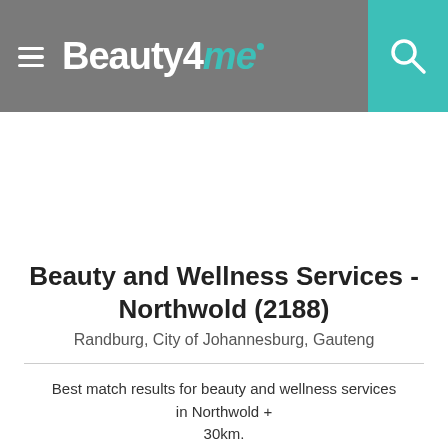Beauty4me
Beauty and Wellness Services - Northwold (2188)
Randburg, City of Johannesburg, Gauteng
Best match results for beauty and wellness services in Northwold + 30km.